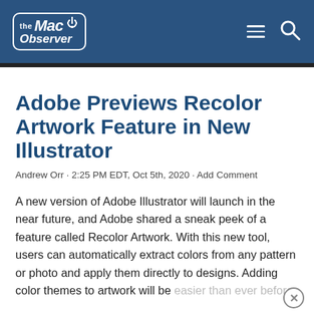the Mac Observer
Adobe Previews Recolor Artwork Feature in New Illustrator
Andrew Orr · 2:25 PM EDT, Oct 5th, 2020 · Add Comment
A new version of Adobe Illustrator will launch in the near future, and Adobe shared a sneak peek of a feature called Recolor Artwork. With this new tool, users can automatically extract colors from any pattern or photo and apply them directly to designs. Adding color themes to artwork will be easier than ever before.